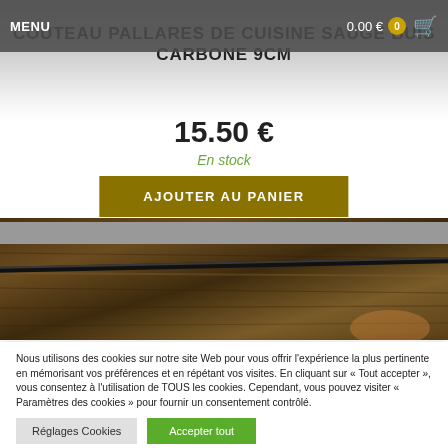MENU  0.00 €  0
COUTEAU PALLARES DE CUISINE SAUGE BUIS CARBONE 9CM
15.50 €
En stock
AJOUTER AU PANIER
[Figure (photo): Close-up photo of a carbon steel knife blade resting on a rustic wooden surface]
Nous utilisons des cookies sur notre site Web pour vous offrir l'expérience la plus pertinente en mémorisant vos préférences et en répétant vos visites. En cliquant sur « Tout accepter », vous consentez à l'utilisation de TOUS les cookies. Cependant, vous pouvez visiter « Paramètres des cookies » pour fournir un consentement contrôlé.
Réglages Cookies
Accepter tout